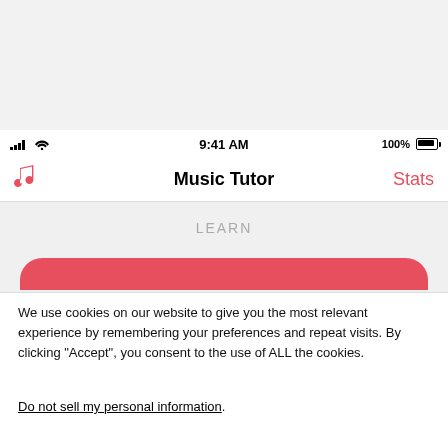[Figure (screenshot): iOS app screenshot showing Music Tutor app with a status bar (9:41 AM, 100% battery), navigation bar with music note icon, 'Music Tutor' title, 'Stats' link in red, a 'LEARN' section header, and a partially visible red button. A cookie consent banner overlays the bottom portion with text and Cookie Settings / Accept buttons.]
We use cookies on our website to give you the most relevant experience by remembering your preferences and repeat visits. By clicking “Accept”, you consent to the use of ALL the cookies.
Do not sell my personal information.
Cookie Settings
Accept